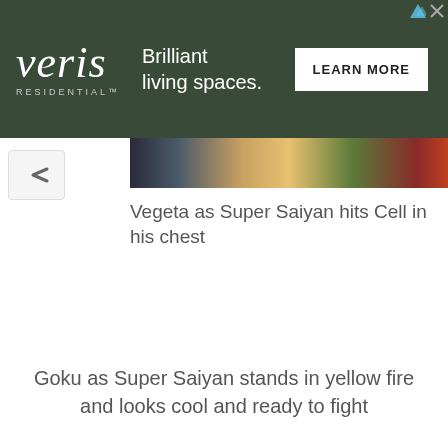[Figure (other): Veris Residential advertisement banner with dark green background, logo on left, tagline 'Brilliant living spaces.' in center, and 'LEARN MORE' button on right]
[Figure (photo): Partial view of an anime image showing colorful character artwork from Dragon Ball Z]
Vegeta as Super Saiyan hits Cell in his chest
Goku as Super Saiyan stands in yellow fire and looks cool and ready to fight